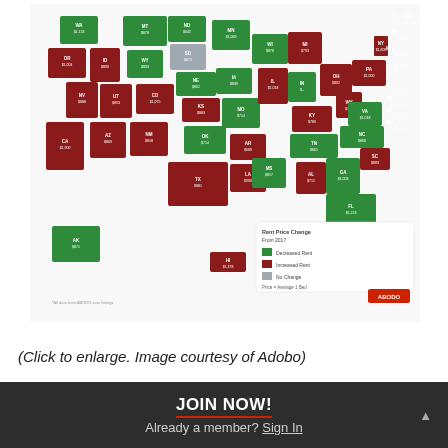[Figure (map): US map showing Rent Price Change from 2017 by state. Green = Decreased Rent, Dark Red = Increased Rent, Gray = No Change. Each state labeled with abbreviation and average 1-bed price. Data from ABODO. States with decreased rent (green): WA, OR, MT, ND, WY, SD, MN, WI, NE, IA, CO, KS, MO, AR, TX, NM, GA, NC, VA, TN, IN, OH, VT, ME, NH, FL, AK. States with increased rent (red): ID, NV, CA, UT, AZ, MI, KY, WV, AL, MS, LA, IL, PA, NY, MA, RI, CT, NJ, DE, DC, MD, HI. States with no change (gray): SD.]
(Click to enlarge. Image courtesy of Adobo)
JOIN NOW!
Already a member? Sign In